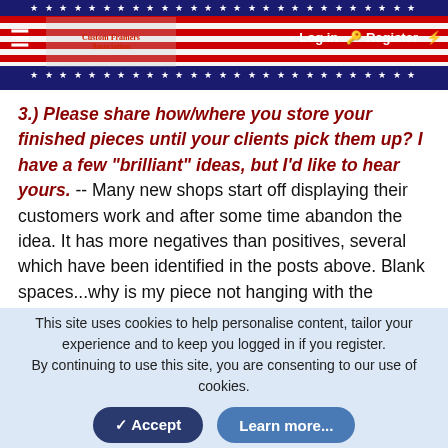Website header with navigation: Log in, Register; hamburger menu; logo/flag imagery
3.) Please share how/where you store your finished pieces until your clients pick them up? I have a few "brilliant" ideas, but I'd like to hear yours. -- Many new shops start off displaying their customers work and after some time abandon the idea. It has more negatives than positives, several which have been identified in the posts above. Blank spaces...why is my piece not hanging with the others?... Potential damage... just a few.
By storing work and unwrapping the finished project, you also get more of the "first reaction" experience as well.
4.) Rent the new Wizard 9000 or purchase outright? -- Although this might be Wizards best CMC, I like many would opt
This site uses cookies to help personalise content, tailor your experience and to keep you logged in if you register.
By continuing to use this site, you are consenting to our use of cookies.